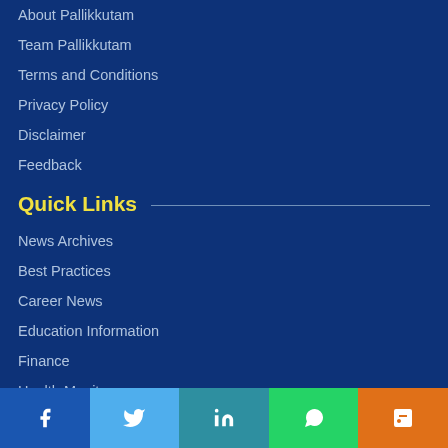About Pallikkutam
Team Pallikkutam
Terms and Conditions
Privacy Policy
Disclaimer
Feedback
Quick Links
News Archives
Best Practices
Career News
Education Information
Finance
Health Monitor
Higher Studies
Facebook | Twitter | LinkedIn | WhatsApp | Blogger